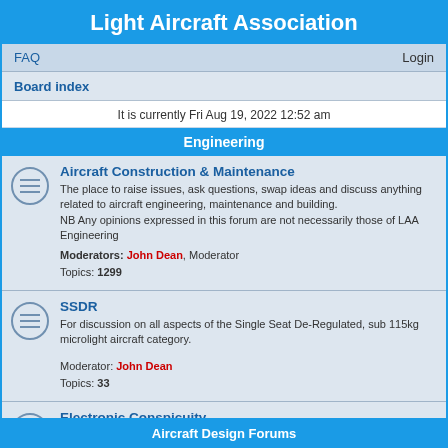Light Aircraft Association
FAQ    Login
Board index
It is currently Fri Aug 19, 2022 12:52 am
Engineering
Aircraft Construction & Maintenance
The place to raise issues, ask questions, swap ideas and discuss anything related to aircraft engineering, maintenance and building.
NB Any opinions expressed in this forum are not necessarily those of LAA Engineering
Moderators: John Dean, Moderator
Topics: 1299
SSDR
For discussion on all aspects of the Single Seat De-Regulated, sub 115kg microlight aircraft category.

Moderator: John Dean
Topics: 33
Electronic Conspicuity
Moderators: John Dean, Moderator
Topics: 10
Aircraft Design Forums